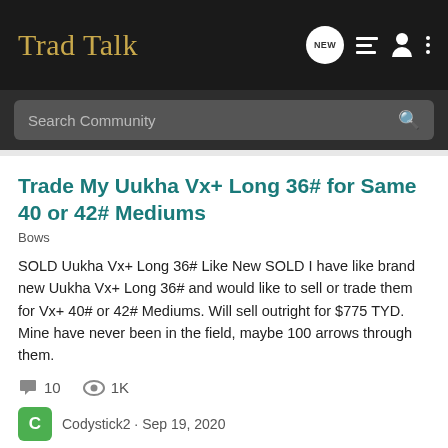Trad Talk
Trade My Uukha Vx+ Long 36# for Same 40 or 42# Mediums
Bows
SOLD Uukha Vx+ Long 36# Like New SOLD I have like brand new Uukha Vx+ Long 36# and would like to sell or trade them for Vx+ 40# or 42# Mediums. Will sell outright for $775 TYD. Mine have never been in the field, maybe 100 arrows through them.
10 comments  1K views
Codystick2 · Sep 19, 2020
36#  42#  long  mediums  trade  uukha